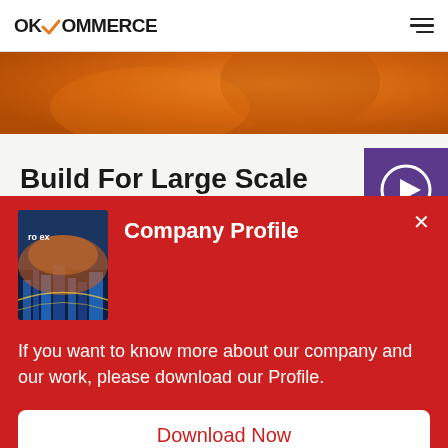OKOMMERCE
[Figure (illustration): Orange textured banner image]
Build For Large Scale
[Figure (illustration): Purple play button icon]
Company Profile
[Figure (photo): Book cover with cityscape and 'ro ex' text]
If you want to know more about our company and our work, please download our Profile.
Download Now